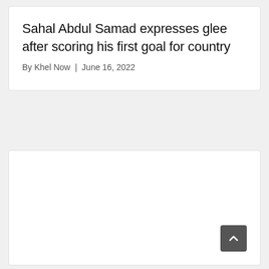Sahal Abdul Samad expresses glee after scoring his first goal for country
By Khel Now | June 16, 2022